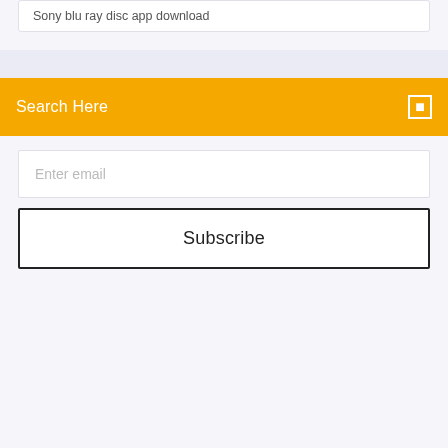Sony blu ray disc app download
Search Here
Enter email
Subscribe